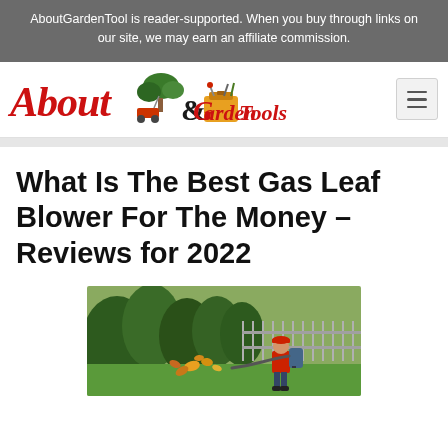AboutGardenTool is reader-supported. When you buy through links on our site, we may earn an affiliate commission.
[Figure (logo): About Garden & Tools logo with red cursive text, illustrations of a bonsai tree, lawn mower, and toolbox]
What Is The Best Gas Leaf Blower For The Money – Reviews for 2022
[Figure (photo): A person in a red shirt using a backpack gas leaf blower to blow leaves in a garden setting with green trees and fence in background]